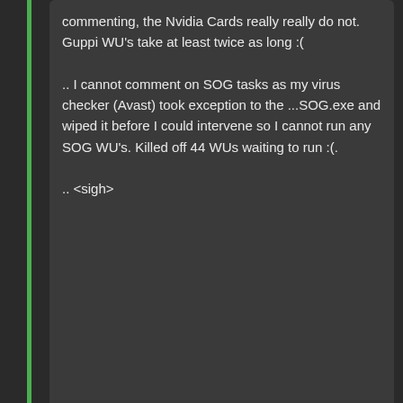commenting, the Nvidia Cards really really do not. Guppi WU's take at least twice as long :(

.. I cannot comment on SOG tasks as my virus checker (Avast) took exception to the ...SOG.exe and wiped it before I could intervene so I cannot run any SOG WU's. Killed off 44 WUs waiting to run :(.

.. <sigh>
ID: 1791497 ·
Zalster  Volunteer tester
Message 1791503 - Posted: 29 May 2016, 0:44:05 UTC - in response to Message 1791497.
Well I personally like SoG despite what anyone else may say.. lol